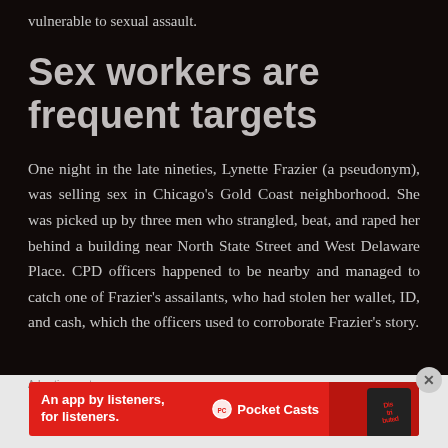vulnerable to sexual assault.
Sex workers are frequent targets
One night in the late nineties, Lynette Frazier (a pseudonym), was selling sex in Chicago's Gold Coast neighborhood. She was picked up by three men who strangled, beat, and raped her behind a building near North State Street and West Delaware Place. CPD officers happened to be nearby and managed to catch one of Frazier's assailants, who had stolen her wallet, ID, and cash, which the officers used to corroborate Frazier's story.
Advertisements
[Figure (other): Pocket Casts advertisement banner: 'An app by listeners, for listeners.' with red background and phone image]